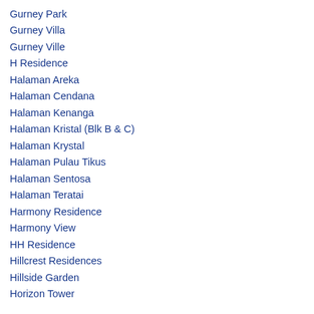Gurney Park
Gurney Villa
Gurney Ville
H Residence
Halaman Areka
Halaman Cendana
Halaman Kenanga
Halaman Kristal (Blk B & C)
Halaman Krystal
Halaman Pulau Tikus
Halaman Sentosa
Halaman Teratai
Harmony Residence
Harmony View
HH Residence
Hillcrest Residences
Hillside Garden
Horizon Tower